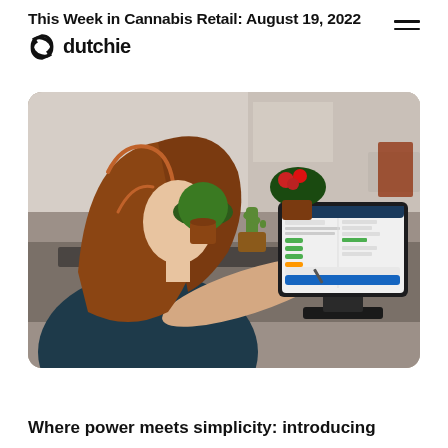This Week in Cannabis Retail: August 19, 2022
[Figure (logo): Dutchie logo with circular recycling-style icon and the word 'dutchie' in bold sans-serif font]
[Figure (photo): A woman with long red hair sits at a counter using a tablet POS system showing the Dutchie software interface; potted plants and a modern retail interior are visible in the background]
Where power meets simplicity: introducing